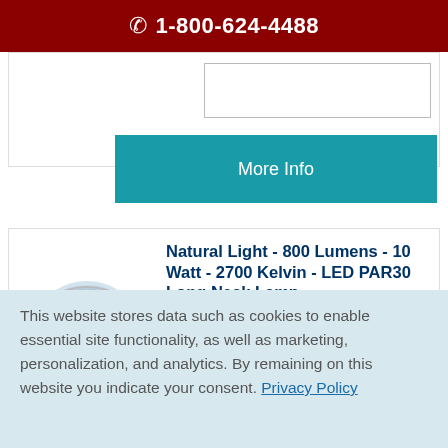1-800-624-4488
[Figure (other): Partial input/search box from previous product card]
More Info
[Figure (photo): LED PAR30 Long Neck lamp bulb product photo]
Natural Light - 800 Lumens - 10 Watt - 2700 Kelvin - LED PAR30 Long Neck Lamp
75 Watt Equal - 40 Deg. Flood - Dimmable - 90 CRI - 120 Volt -
This website stores data such as cookies to enable essential site functionality, as well as marketing, personalization, and analytics. By remaining on this website you indicate your consent. Privacy Policy